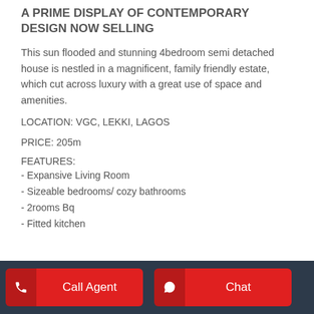A PRIME DISPLAY OF CONTEMPORARY DESIGN NOW SELLING
This sun flooded and stunning 4bedroom semi detached house is nestled in a magnificent, family friendly estate, which cut across luxury with a great use of space and amenities.
LOCATION: VGC, LEKKI, LAGOS
PRICE: 205m
FEATURES:
- Expansive Living Room
- Sizeable bedrooms/ cozy bathrooms
- 2rooms Bq
- Fitted kitchen
Call Agent | Chat